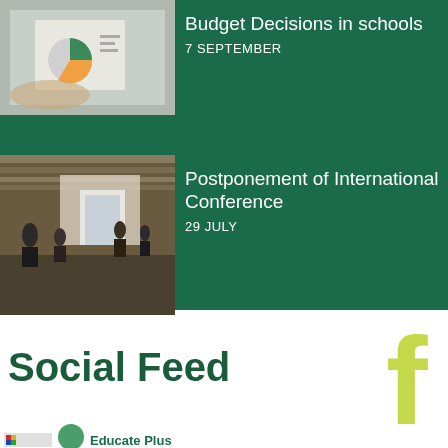[Figure (photo): Hands holding papers with charts/graphs — budget decisions illustration]
Budget Decisions in schools
7 SEPTEMBER
[Figure (photo): Conference hall interior with people walking around]
Postponement of International Conference
29 JULY
Social Feed